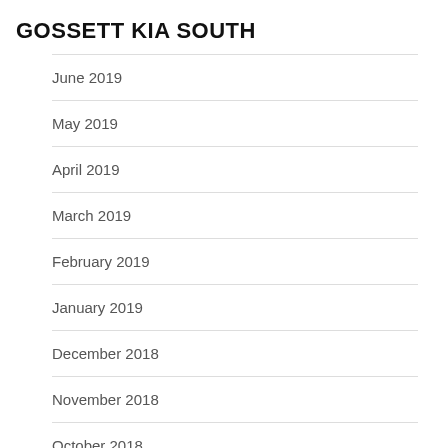GOSSETT KIA SOUTH
June 2019
May 2019
April 2019
March 2019
February 2019
January 2019
December 2018
November 2018
October 2018
September 2018
August 2018